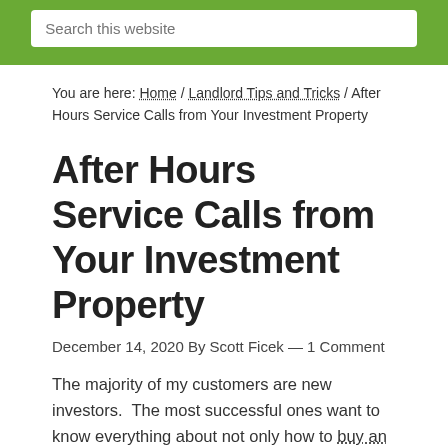Search this website
You are here: Home / Landlord Tips and Tricks / After Hours Service Calls from Your Investment Property
After Hours Service Calls from Your Investment Property
December 14, 2020 By Scott Ficek — 1 Comment
The majority of my customers are new investors. The most successful ones want to know everything about not only how to buy an investment property, but how to own one and be a successful landlord. A frequent question